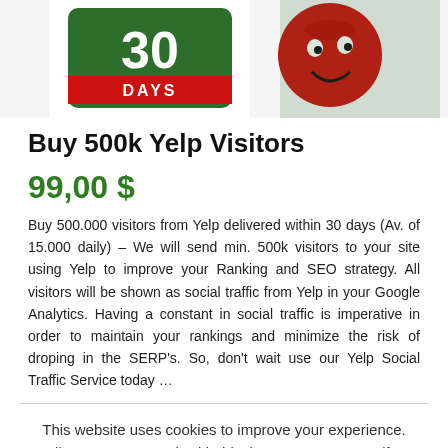[Figure (illustration): Product image showing a '30 DAYS' badge on green background and a red cartoon character on green background]
Buy 500k Yelp Visitors
99,00 $
Buy 500.000 visitors from Yelp delivered within 30 days (Av. of 15.000 daily) – We will send min. 500k visitors to your site using Yelp to improve your Ranking and SEO strategy. All visitors will be shown as social traffic from Yelp in your Google Analytics. Having a constant in social traffic is imperative in order to maintain your rankings and minimize the risk of droping in the SERP's. So, don't wait use our Yelp Social Traffic Service today …
This website uses cookies to improve your experience. We'll assume you're ok with this, but you can opt-out if you wish.
Cookie settings
ACCEPT